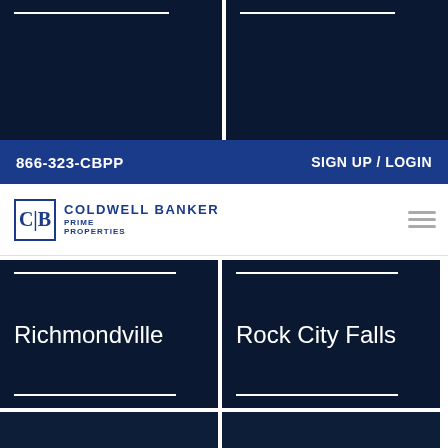866-323-CBPP | SIGN UP / LOGIN
[Figure (logo): Coldwell Banker Prime Properties logo with CB icon and hamburger menu]
Richmondville
Rock City Falls
Rockland
Rome